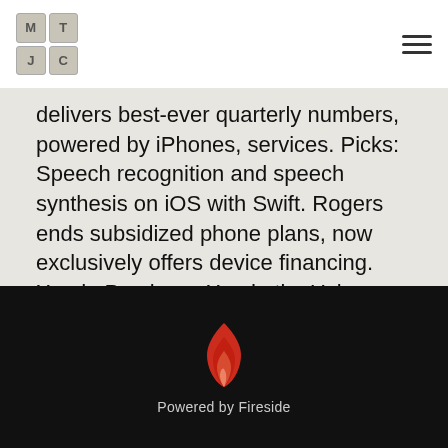MTJC logo and hamburger menu
delivers best-ever quarterly numbers, powered by iPhones, services. Picks: Speech recognition and speech synthesis on iOS with Swift. Rogers ends subsidized phone plans, now exclusively offers device financing. Xcode Previews. Xcode tip: Using breakpoints as bookmarks.
More Than Just Code podcast - iOS and Swift development, news and advice is © 2022 by iT Guy Technologies
About   Episodes   Hosts   Guests   Donate   Search   advertise   Reviews   Swag   FAQ   Contact Us   MTJC Slack   Subscribe
[Figure (logo): Fireside flame logo in red/orange on black background with 'Powered by Fireside' text]